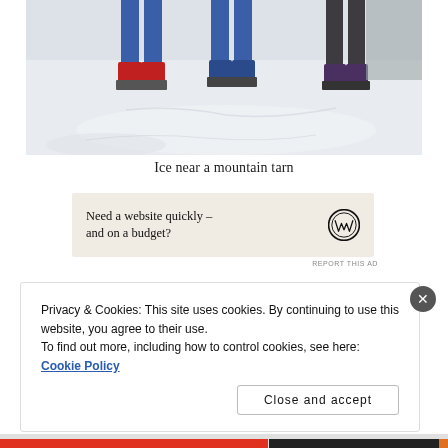[Figure (photo): A photo showing people's legs and feet standing on snow near an icy mountain tarn. Colorful boot covers visible — blue, red, and dark colors.]
Ice near a mountain tarn
[Figure (other): WordPress advertisement banner with text 'Need a website quickly – and on a budget?' and WordPress logo]
REPORT THIS AD
Privacy & Cookies: This site uses cookies. By continuing to use this website, you agree to their use.
To find out more, including how to control cookies, see here: Cookie Policy
Close and accept